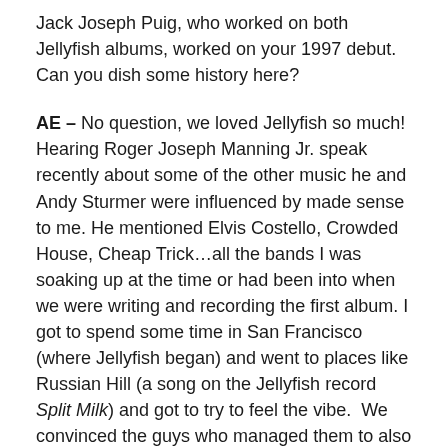Jack Joseph Puig, who worked on both Jellyfish albums, worked on your 1997 debut. Can you dish some history here?
AE – No question, we loved Jellyfish so much! Hearing Roger Joseph Manning Jr. speak recently about some of the other music he and Andy Sturmer were influenced by made sense to me. He mentioned Elvis Costello, Crowded House, Cheap Trick…all the bands I was soaking up at the time or had been into when we were writing and recording the first album. I got to spend some time in San Francisco (where Jellyfish began) and went to places like Russian Hill (a song on the Jellyfish record Split Milk) and got to try to feel the vibe. We convinced the guys who managed them to also manage us. Working with Jack Joseph Puig was a feather in our cap for sure. He worked on the